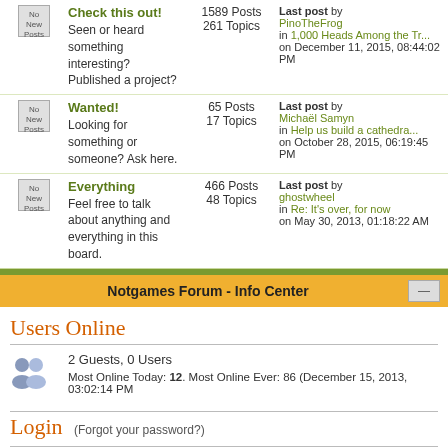Check this out! - Seen or heard something interesting? Published a project? - 1589 Posts, 261 Topics - Last post by PinoTheFrog in 1,000 Heads Among the Tr... on December 11, 2015, 08:44:02 PM
Wanted! - Looking for something or someone? Ask here. - 65 Posts, 17 Topics - Last post by Michaël Samyn in Help us build a cathedra... on October 28, 2015, 06:19:45 PM
Everything - Feel free to talk about anything and everything in this board. - 466 Posts, 48 Topics - Last post by ghostwheel in Re: It's over, for now on May 30, 2013, 01:18:22 AM
Notgames Forum - Info Center
Users Online
2 Guests, 0 Users
Most Online Today: 12. Most Online Ever: 86 (December 15, 2013, 03:02:14 PM
Login
(Forgot your password?)